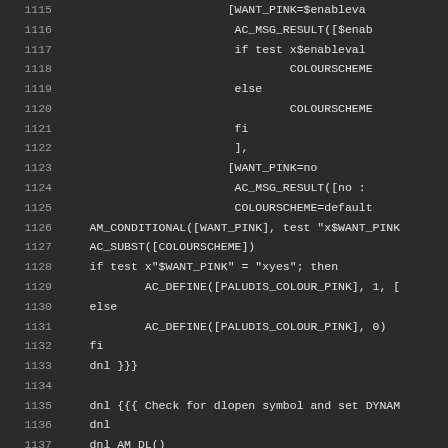[Figure (screenshot): Code editor screenshot showing autoconf/automake script lines 1115-1142 with dark background theme. Line numbers on left, code content on right in monospace font.]